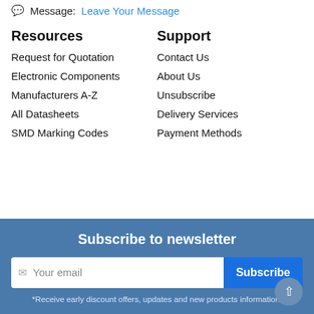Message: Leave Your Message
Resources
Support
Request for Quotation
Contact Us
Electronic Components
About Us
Manufacturers A-Z
Unsubscribe
All Datasheets
Delivery Services
SMD Marking Codes
Payment Methods
Subscribe to newsletter
Your email
Subscribe
*Receive early discount offers, updates and new products information.